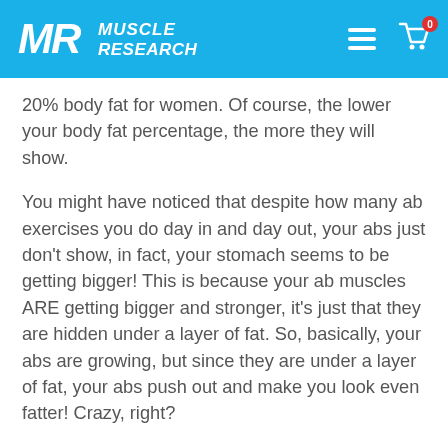MR Muscle Research [navigation header]
20% body fat for women. Of course, the lower your body fat percentage, the more they will show.
You might have noticed that despite how many ab exercises you do day in and day out, your abs just don't show, in fact, your stomach seems to be getting bigger! This is because your ab muscles ARE getting bigger and stronger, it's just that they are hidden under a layer of fat. So, basically, your abs are growing, but since they are under a layer of fat, your abs push out and make you look even fatter! Crazy, right?